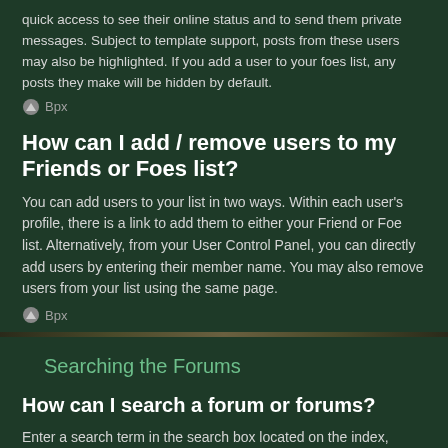quick access to see their online status and to send them private messages. Subject to template support, posts from these users may also be highlighted. If you add a user to your foes list, any posts they make will be hidden by default.
⌃ Bpx
How can I add / remove users to my Friends or Foes list?
You can add users to your list in two ways. Within each user's profile, there is a link to add them to either your Friend or Foe list. Alternatively, from your User Control Panel, you can directly add users by entering their member name. You may also remove users from your list using the same page.
⌃ Bpx
Searching the Forums
How can I search a forum or forums?
Enter a search term in the search box located on the index, forum or topic pages. Advanced search can be accessed by clicking the "Advance Search" link which is available on all pages on the forum. How to access